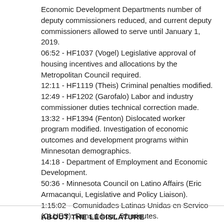Economic Development Departments number of deputy commissioners reduced, and current deputy commissioners allowed to serve until January 1, 2019.
06:52 - HF1037 (Vogel) Legislative approval of housing incentives and allocations by the Metropolitan Council required.
12:11 - HF1119 (Theis) Criminal penalties modified.
12:49 - HF1202 (Garofalo) Labor and industry commissioner duties technical correction made.
13:32 - HF1394 (Fenton) Dislocated worker program modified. Investigation of economic outcomes and development programs within Minnesotan demographics.
14:18 - Department of Employment and Economic Development.
50:36 - Minnesota Council on Latino Affairs (Eric Armacanqui, Legislative and Policy Liaison).
1:15:02 - Comunidades Latinas Unidas en Servico (CLUES). Runs 1 hour, 52 minutes.
Show Full Schedule Agenda:
ABOUT THE LEGISLATURE